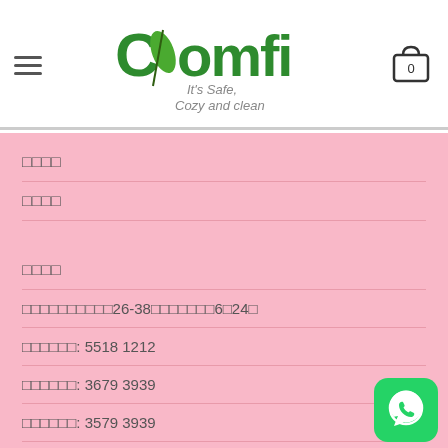[Figure (logo): Comfi logo with leaf design. Text reads: It's Safe, Cozy and clean]
□□□□
□□□□
□□□□
□□□□□□□□□□26-38□□□□□□□6□24□
□□□□□□: 5518 1212
□□□□□□: 3679 3939
□□□□□□: 3579 3939
□□: info@comfi-home.com
[Figure (logo): WhatsApp button icon, green rounded square]